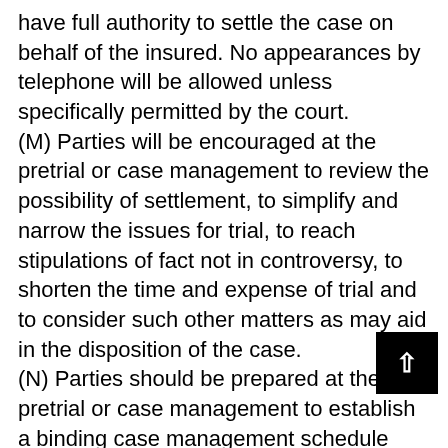have full authority to settle the case on behalf of the insured. No appearances by telephone will be allowed unless specifically permitted by the court.
(M) Parties will be encouraged at the pretrial or case management to review the possibility of settlement, to simplify and narrow the issues for trial, to reach stipulations of fact not in controversy, to shorten the time and expense of trial and to consider such other matters as may aid in the disposition of the case.
(N) Parties should be prepared at the pretrial or case management to establish a binding case management schedule setting forth a timetable for the amendment of the pleadings, the filing of motions, the exchange of documents, the termination of discovery, and the trial of the action. Such schedule shall be adopted as a written order of the court.
(O) At the time of the pretrial or case management, the court may consider other appropriate matters in